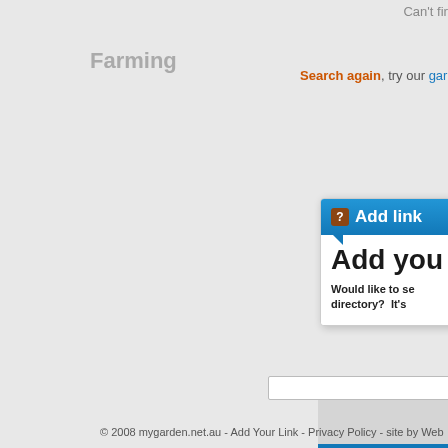Can't find
Farming
Search again, try our gardening re
[Figure (screenshot): Add link popup widget with blue header showing question mark icon and 'Add link' title, body text 'Add you' (truncated) and 'Would like to se directory? It's' (truncated)]
(gray box with blue bar)
(bottom input field)
© 2008 mygarden.net.au - Add Your Link - Privacy Policy - site by Web